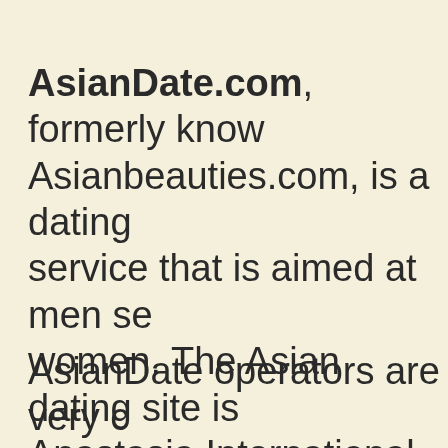AsianDate.com, formerly known as Asianbeauties.com, is a dating service that is aimed at men seeking women. The Asian dating site is part of Anastasia International Network, which was founded in 1993. The Anastasia International owns AmoLatino and AfricaBeauties, which all hold a total membership of 1...
AsianDate operators are very caring about singles and users that are on the...